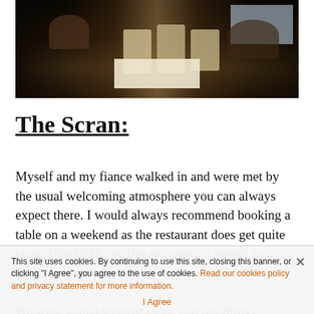[Figure (photo): Interior of a restaurant with cream/beige chairs and white tablecloths, diners seated at tables, warm dark ambiance with a window in the background]
The Scran:
Myself and my fiance walked in and were met by the usual welcoming atmosphere you can always expect there. I would always recommend booking a table on a weekend as the restaurant does get quite busy. Thankfully, on this occasion, it wasn't so a booking wasn't required.
We were seated straight away, had our drinks
This site uses cookies. By continuing to use this site, closing this banner, or clicking "I Agree", you agree to the use of cookies. Read our cookies policy and privacy statement for more information.
I Agree